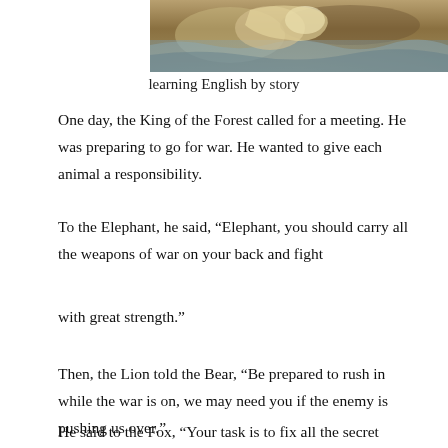[Figure (photo): Photo of animals in water/mud, partially cropped at top of page]
learning English by story
One day, the King of the Forest called for a meeting. He was preparing to go for war. He wanted to give each animal a responsibility.
To the Elephant, he said, “Elephant, you should carry all the weapons of war on your back and fight
with great strength.”
Then, the Lion told the Bear, “Be prepared to rush in while the war is on, we may need you if the enemy is pushing us over.”
He said to the Fox, “Your task is to fix all the secret plots.”